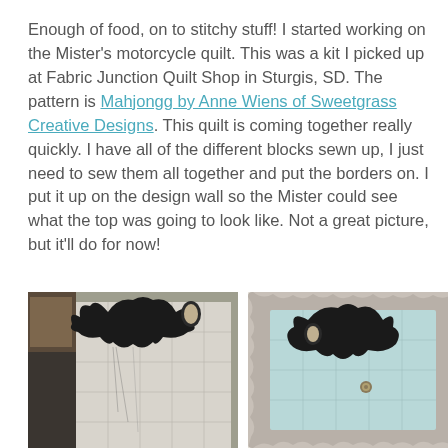Enough of food, on to stitchy stuff! I started working on the Mister's motorcycle quilt. This was a kit I picked up at Fabric Junction Quilt Shop in Sturgis, SD. The pattern is Mahjongg by Anne Wiens of Sweetgrass Creative Designs. This quilt is coming together really quickly. I have all of the different blocks sewn up, I just need to sew them all together and put the borders on. I put it up on the design wall so the Mister could see what the top was going to look like. Not a great picture, but it'll do for now!
[Figure (photo): Left photo showing a quilt block with ornate black decorative top piece on a design wall with colorful fabric visible on the left side.]
[Figure (photo): Right photo showing a completed quilt block with ornate black decorative top piece, light blue background, and silver/gray ruffled border.]